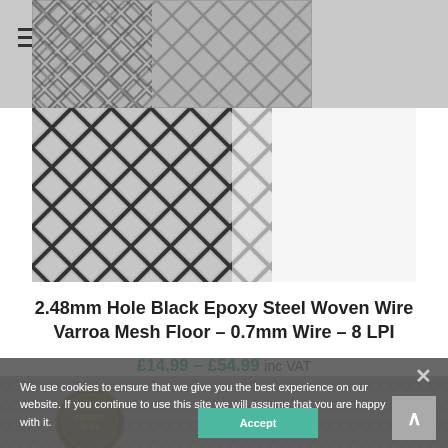[Figure (photo): Header area showing diamond/woven wire mesh pattern, grey background with hamburger menu icon]
[Figure (photo): Close-up photo of black epoxy coated woven wire mesh on white/light background]
2.48mm Hole Black Epoxy Steel Woven Wire Varroa Mesh Floor – 0.7mm Wire – 8 LPI
£14.99 – £54.99 inc VAT
[Figure (photo): Close-up photo of woven wire mesh with a UK pound coin for scale, overlaid with cookie consent banner]
We use cookies to ensure that we give you the best experience on our website. If you continue to use this site we will assume that you are happy with it.